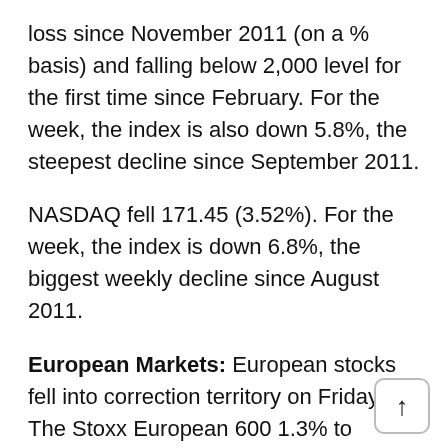loss since November 2011 (on a % basis) and falling below 2,000 level for the first time since February. For the week, the index is also down 5.8%, the steepest decline since September 2011.
NASDAQ fell 171.45 (3.52%). For the week, the index is down 6.8%, the biggest weekly decline since August 2011.
European Markets: European stocks fell into correction territory on Friday. The Stoxx European 600 1.3% to 368.59. The index is down 11% from April 15 closing and all-time high of 414.06. For the week, the index is down 4.6%, the worst weekly performance since December. Other indexes fell into correction territory also. Germany's DAX Index